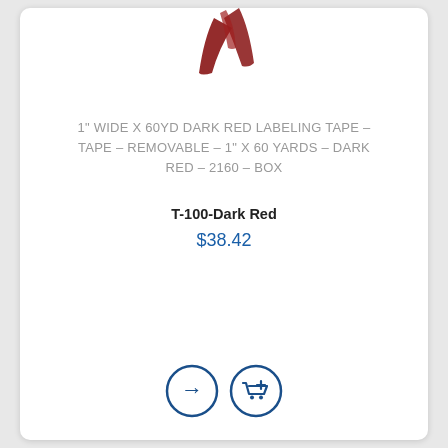[Figure (photo): Partial image of dark red labeling tape roll visible at top of card]
1" WIDE X 60YD DARK RED LABELING TAPE – TAPE – REMOVABLE – 1" X 60 YARDS – DARK RED – 2160 – BOX
T-100-Dark Red
$38.42
[Figure (illustration): Two circular icon buttons: right-arrow button and add-to-cart button, both in dark navy blue]